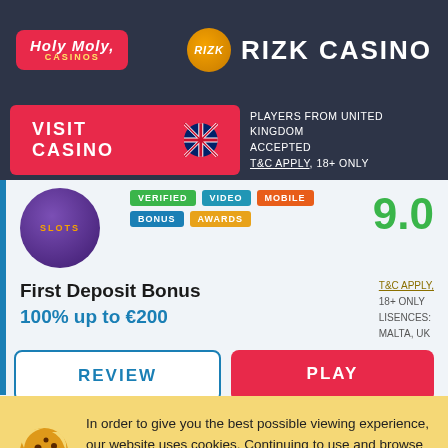[Figure (logo): Holy Moly Casinos logo - pink/red rounded rectangle]
[Figure (logo): Rizk Casino logo - orange circle with RIZK text and RIZK CASINO text]
VISIT CASINO
PLAYERS FROM UNITED KINGDOM ACCEPTED T&C APPLY, 18+ ONLY
VERIFIED VIDEO MOBILE BONUS AWARDS
9.0
First Deposit Bonus
100% up to €200
T&C APPLY, 18+ ONLY LISENCES: MALTA, UK
REVIEW
PLAY
In order to give you the best possible viewing experience, our website uses cookies. Continuing to use and browse our website, you agree to our use of cookies as defined in our Privacy Policy.
ALLOW COOKIES